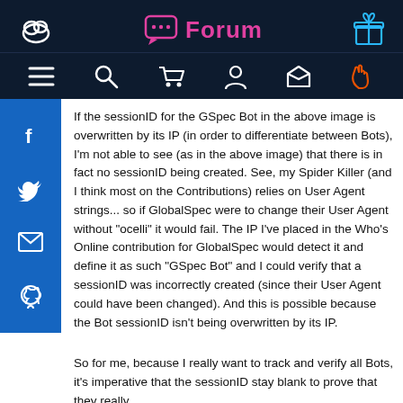Forum
If the sessionID for the GSpec Bot in the above image is overwritten by its IP (in order to differentiate between Bots), I'm not able to see (as in the above image) that there is in fact no sessionID being created. See, my Spider Killer (and I think most on the Contributions) relies on User Agent strings... so if GlobalSpec were to change their User Agent without "ocelli" it would fail. The IP I've placed in the Who's Online contribution for GlobalSpec would detect it and define it as such "GSpec Bot" and I could verify that a sessionID was incorrectly created (since their User Agent could have been changed). And this is possible because the Bot sessionID isn't being overwritten by its IP.
So for me, because I really want to track and verify all Bots, it's imperative that the sessionID stay blank to prove that they really